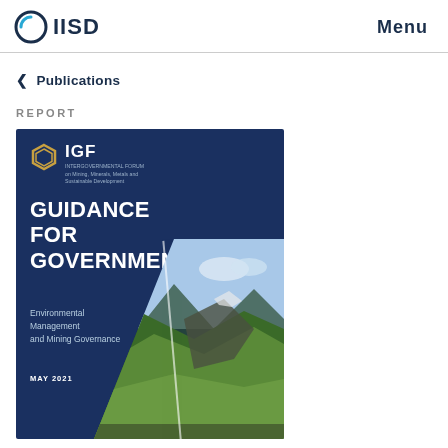IISD | Menu
< Publications
REPORT
[Figure (illustration): IGF report cover: dark navy blue cover with IGF hexagon logo, title 'GUIDANCE FOR GOVERNMENTS', subtitle 'Environmental Management and Mining Governance', date 'MAY 2021', with a diagonal mountain landscape photo in the lower right corner.]